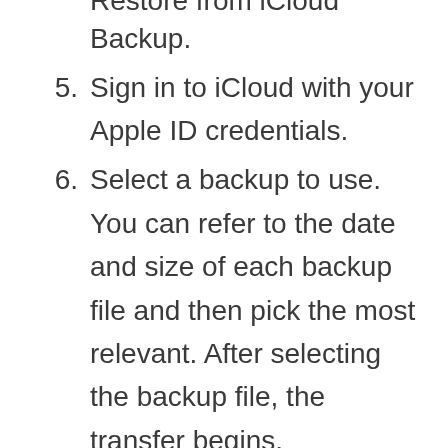Restore from iCloud Backup. (partial, top cut off)
5. Sign in to iCloud with your Apple ID credentials.
6. Select a backup to use. You can refer to the date and size of each backup file and then pick the most relevant. After selecting the backup file, the transfer begins.
7. If prompted with a message requiring a newer version of iOS, follow the onscreen instructions to update. Otherwise, skip to the next step.